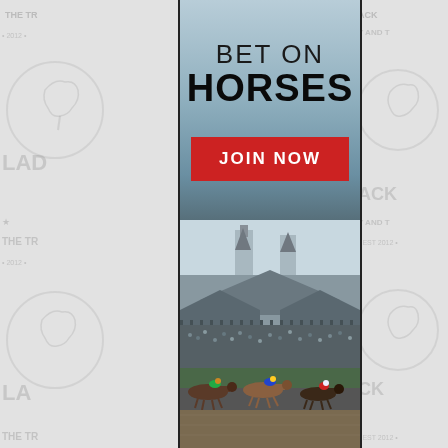[Figure (infographic): Advertisement banner for horse betting. Left and right sidebars show 'Lady and the Track' watermark logo repeated. Center vertical banner shows 'BET ON HORSES' text at top with a red 'JOIN NOW' button, over a background image of Churchill Downs racetrack with crowds and horses racing in the foreground.]